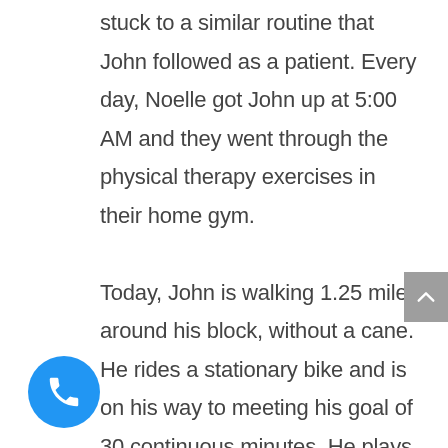stuck to a similar routine that John followed as a patient. Every day, Noelle got John up at 5:00 AM and they went through the physical therapy exercises in their home gym.

Today, John is walking 1.25 miles around his block, without a cane. He rides a stationary bike and is on his way to meeting his goal of 30 continuous minutes. He plays fetch with his 13-year old